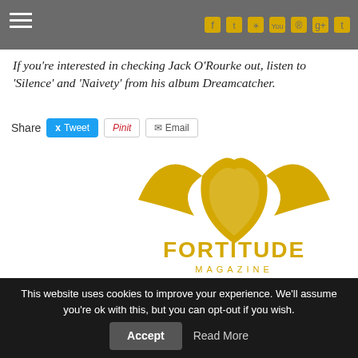Navigation bar with hamburger menu and social icons
If you're interested in checking Jack O'Rourke out, listen to 'Silence' and 'Naivety' from his album Dreamcatcher.
[Figure (logo): Fortitude Magazine logo — gold winged emblem with 'FORTITUDE MAGAZINE' text]
Related Posts
This website uses cookies to improve your experience. We'll assume you're ok with this, but you can opt-out if you wish.